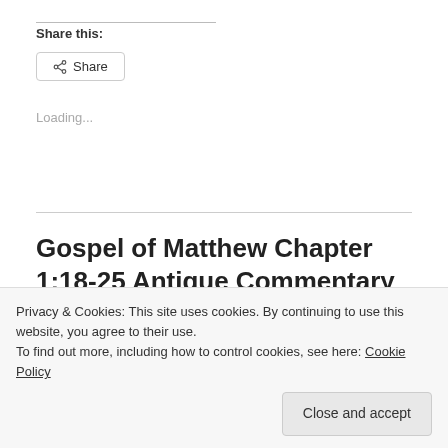Share this:
Share
Loading...
Gospel of Matthew Chapter 1:18-25 Antique Commentary Quotes
Privacy & Cookies: This site uses cookies. By continuing to use this website, you agree to their use.
To find out more, including how to control cookies, see here: Cookie Policy
Close and accept
Christ – The circumstances attending his birth. Was on